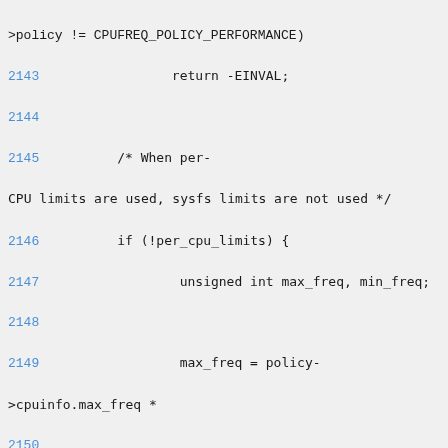Code listing showing lines 2143-2159 of C source code involving CPUFREQ policy logic